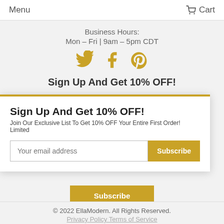Menu   Cart
Business Hours:
Mon – Fri | 9am – 5pm CDT
[Figure (illustration): Three social media icons: Twitter bird, Facebook F, and Pinterest P in gold/yellow color]
Sign Up And Get 10% OFF!
Sign Up And Get 10% OFF!
Join Our Exclusive List To Get 10% OFF Your Entire First Order! Limited
Your email address
Subscribe
Subscribe
^ Back To Top
Your privacy is always 100% Guaranteed
© 2022 EllaModern. All Rights Reserved.
Privacy Policy  Terms of Service